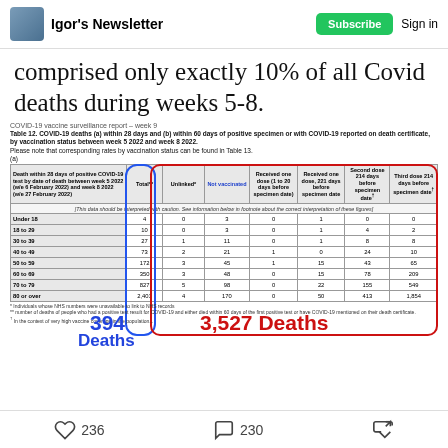Igor's Newsletter | Subscribe | Sign in
comprised only exactly 10% of all Covid deaths during weeks 5-8.
COVID-19 vaccine surveillance report – week 9
Table 12. COVID-19 deaths (a) within 28 days and (b) within 60 days of positive specimen or with COVID-19 reported on death certificate, by vaccination status between week 5 2022 and week 8 2022.
Please note that corresponding rates by vaccination status can be found in Table 13.
(a)
| Death within 28 days of positive COVID-19 test by date of death between week 5 2022 (w/e 6 February 2022) and week 8 2022 (w/e 27 February 2022) | Total** | Unlinked* | Not vaccinated | Received one dose (1 to 20 days before specimen date) | Received one dose, 221 days before specimen date | Second dose 214 days before specimen date† | Third dose 214 days before specimen date† |
| --- | --- | --- | --- | --- | --- | --- | --- |
| Under 18 | 4 | 0 | 3 | 0 | 1 | 0 | 0 |
| 18 to 29 | 10 | 0 | 3 | 0 | 1 | 4 | 2 |
| 30 to 39 | 27 | 1 | 11 | 0 | 1 | 8 | 8 |
| 40 to 49 | 73 | 2 | 21 | 1 | 0 | 24 | 10 |
| 50 to 59 | 172 | 3 | 45 | 1 | 15 | 43 | 65 |
| 60 to 69 | 350 | 3 | 48 | 0 | 15 | 78 | 209 |
| 70 to 79 | 827 | 5 | 98 | 0 | 22 | 155 | 549 |
| 80 or over | 2,401 | 4 | 170 | 0 | 50 | 413 | 1,854 |
394 Deaths (blue annotation) | 3,527 Deaths (red annotation)
236 likes | 230 comments | share